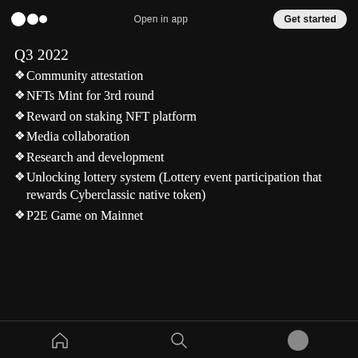Open in app | Get started
Q3 2022
Community attestation
NFTs Mint for 3rd round
Reward on staking NFT platform
Media collaboration
Research and development
Unlocking lottery system (Lottery event participation that rewards Cyberclassic native token)
P2E Game on Mainnet
Home | Search | Profile